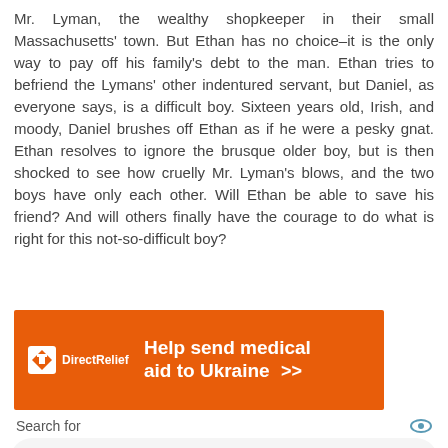Mr. Lyman, the wealthy shopkeeper in their small Massachusetts' town. But Ethan has no choice–it is the only way to pay off his family's debt to the man. Ethan tries to befriend the Lymans' other indentured servant, but Daniel, as everyone says, is a difficult boy. Sixteen years old, Irish, and moody, Daniel brushes off Ethan as if he were a pesky gnat. Ethan resolves to ignore the brusque older boy, but is then shocked to see how cruelly Mr. Lyman's blows, and the two boys have only each other. Will Ethan be able to save his friend? And will others finally have the courage to do what is right for this not-so-difficult boy?
[Figure (infographic): Orange Direct Relief advertisement banner: Help send medical aid to Ukraine >>]
Search for
1  TOP FICTION BOOKS 2021
2  10 MUST-READ BOOKS
Ad | Business Focus